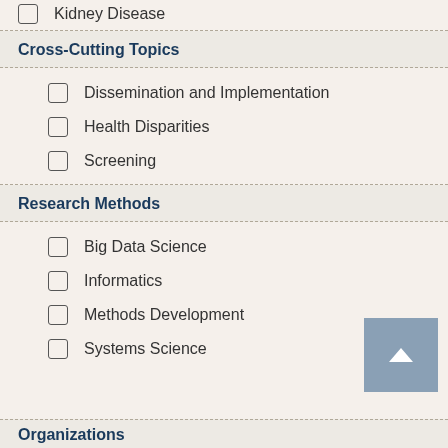Kidney Disease
Cross-Cutting Topics
Dissemination and Implementation
Health Disparities
Screening
Research Methods
Big Data Science
Informatics
Methods Development
Systems Science
Organizations